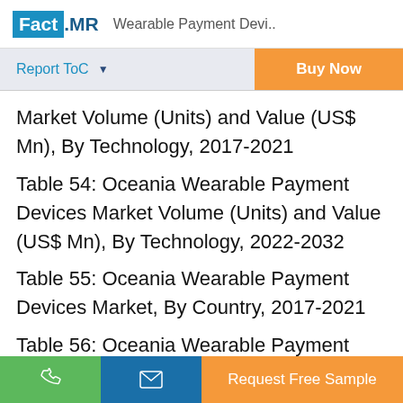Fact.MR Wearable Payment Devi..
Report ToC
Buy Now
Market Volume (Units) and Value (US$ Mn), By Technology, 2017-2021
Table 54: Oceania Wearable Payment Devices Market Volume (Units) and Value (US$ Mn), By Technology, 2022-2032
Table 55: Oceania Wearable Payment Devices Market, By Country, 2017-2021
Table 56: Oceania Wearable Payment Devices
Request Free Sample